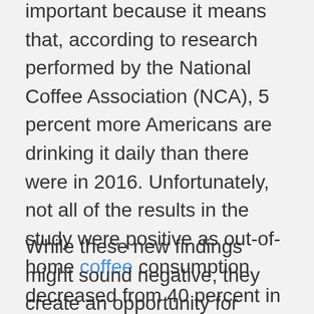important because it means that, according to research performed by the National Coffee Association (NCA), 5 percent more Americans are drinking it daily than there were in 2016. Unfortunately, not all of the results in the study were positive as out-of-home coffee consumption decreased from 40 percent in 2017 to 36 percent in 2018, and those who claimed to have a workplace coffee area decreased by 3 percent.
While these new findings might sound negative, they create an opportunity for Philadelphia beans